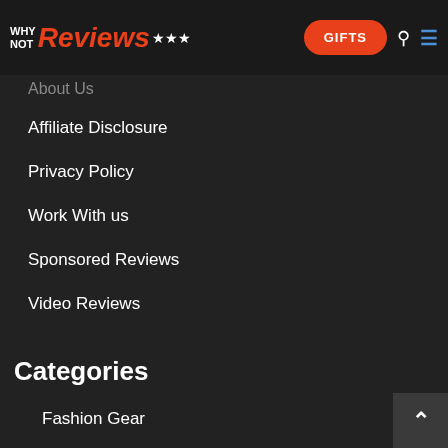WHY NOT Reviews — GIFTS navigation bar
About Us
Affiliate Disclosure
Privacy Policy
Work With us
Sponsored Reviews
Video Reviews
Categories
Fashion Gear
Lawn Mowers
Beauty Gear
Pet Supplies
Sports Gear
Kitchen Appliances